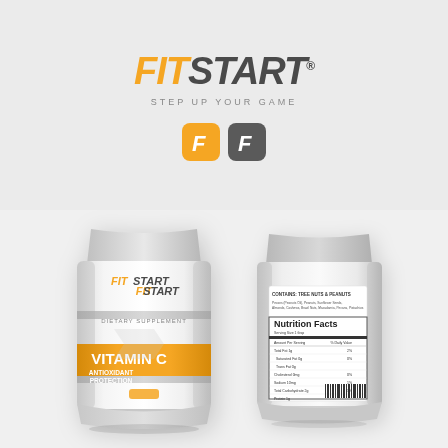[Figure (logo): FitStart logo with orange FIT and dark gray START text, italic bold, with registered trademark symbol, tagline STEP UP YOUR GAME, and two icon badges (orange and gray F letter icons)]
[Figure (photo): Front and back view of FitStart Vitamin C Antioxidant Protection dietary supplement pouch bags on gray background. Front shows FitStart branding, DIETARY SUPPLEMENT label, VITAMIN C text, ANTIOXIDANT PROTECTION text in orange band. Back shows nutrition facts panel, CONTAINS: TREE NUTS & PEANUTS warning, and barcode.]